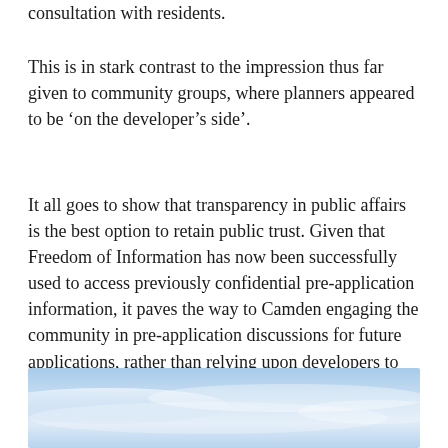consultation with residents.
This is in stark contrast to the impression thus far given to community groups, where planners appeared to be ‘on the developer’s side’.
It all goes to show that transparency in public affairs is the best option to retain public trust. Given that Freedom of Information has now been successfully used to access previously confidential pre-application information, it paves the way to Camden engaging the community in pre-application discussions for future applications, rather than relying upon developers to implement token consultation exercises.
[Figure (photo): Photograph showing a pale blue sky with soft clouds and a calm horizon, light blue tones throughout.]